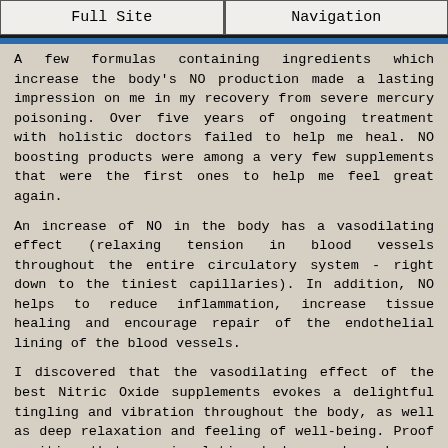Full Site | Navigation
A few formulas containing ingredients which increase the body's NO production made a lasting impression on me in my recovery from severe mercury poisoning. Over five years of ongoing treatment with holistic doctors failed to help me heal. NO boosting products were among a very few supplements that were the first ones to help me feel great again.
An increase of NO in the body has a vasodilating effect (relaxing tension in blood vessels throughout the entire circulatory system - right down to the tiniest capillaries). In addition, NO helps to reduce inflammation, increase tissue healing and encourage repair of the endothelial lining of the blood vessels.
I discovered that the vasodilating effect of the best Nitric Oxide supplements evokes a delightful tingling and vibration throughout the body, as well as deep relaxation and feeling of well-being. Proof positive that my circulation had opened up became evident. I went from becoming quickly numb from swimming in a cold lake, to feeling warmth and tingling all the way through my fingertips and toes swimming in that same water, even as it grew colder!
Reducing inflammation, increasing circulation and encouraging